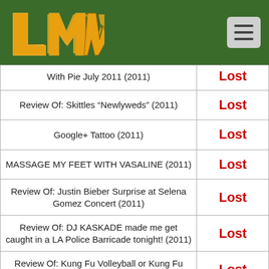LMW logo and navigation menu
| Title | Result |
| --- | --- |
| With Pie July 2011 (2011) | Lost |
| Review Of: Skittles “Newlyweds” (2011) | Lost |
| Google+ Tattoo (2011) | Lost |
| MASSAGE MY FEET WITH VASALINE (2011) | Lost |
| Review Of: Justin Bieber Surprise at Selena Gomez Concert (2011) | Lost |
| Review Of: DJ KASKADE made me get caught in a LA Police Barricade tonight! (2011) | Lost |
| Review Of: Kung Fu Volleyball or Kung Fu Soccer? (2011) | Lost |
| Review Of: _Vilnius_ Mayor A.Zuokas | Lost |